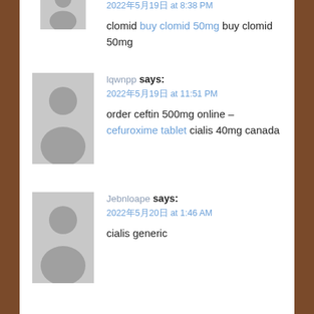2022â5â19â at 8:38 PM
clomid buy clomid 50mg buy clomid 50mg
lqwnpp says:
2022â5â19â at 11:51 PM
order ceftin 500mg online – cefuroxime tablet cialis 40mg canada
Jebnloape says:
2022â5â20â at 1:46 AM
cialis generic